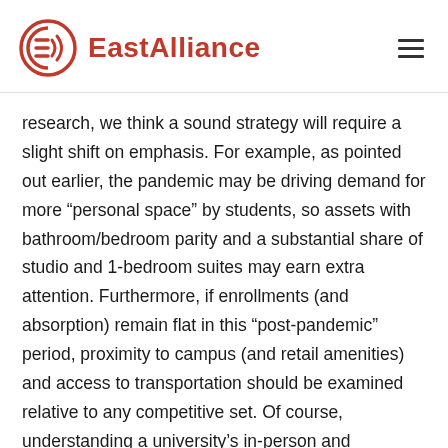EastAlliance
research, we think a sound strategy will require a slight shift on emphasis. For example, as pointed out earlier, the pandemic may be driving demand for more “personal space” by students, so assets with bathroom/bedroom parity and a substantial share of studio and 1-bedroom suites may earn extra attention. Furthermore, if enrollments (and absorption) remain flat in this “post-pandemic” period, proximity to campus (and retail amenities) and access to transportation should be examined relative to any competitive set. Of course, understanding a university’s in-person and vaccination policies will now play an additional role in assessing projects entering the 2021/22 academic year.   While we